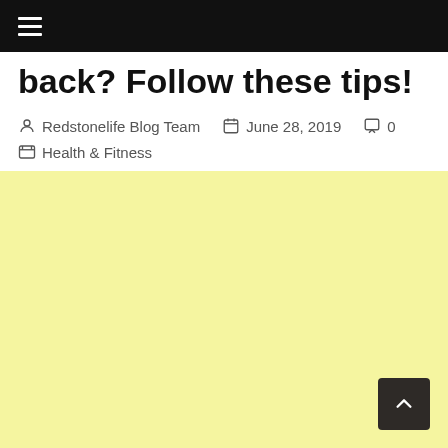☰ (navigation menu)
back? Follow these tips!
Redstonelife Blog Team   June 28, 2019   0   Health & Fitness
[Figure (other): Yellow advertisement/image placeholder block]